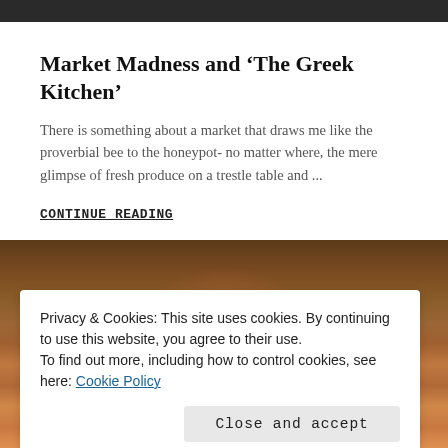[Figure (photo): Dark photo strip at top of page, appears to be a food/restaurant photo]
Market Madness and ‘The Greek Kitchen’
There is something about a market that draws me like the proverbial bee to the honeypot- no matter where, the mere glimpse of fresh produce on a trestle table and ...
CONTINUE READING
[Figure (photo): Food photo showing dishes with eggs, sauce, and other food items on plates]
Privacy & Cookies: This site uses cookies. By continuing to use this website, you agree to their use.
To find out more, including how to control cookies, see here: Cookie Policy
Close and accept